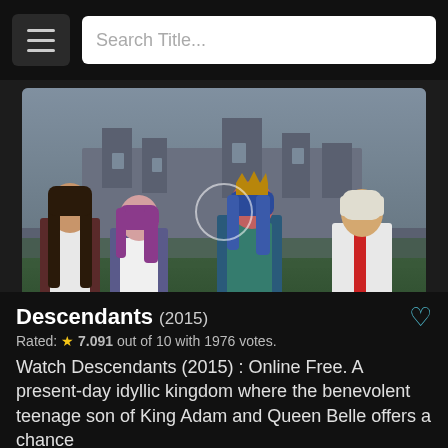Search Title...
[Figure (screenshot): Video player showing four cast members of Descendants (2015) standing in front of a castle. Video controls show play button and 0:00 timestamp.]
Descendants (2015)
Rated: ★ 7.091 out of 10 with 1976 votes.
Watch Descendants (2015) : Online Free. A present-day idyllic kingdom where the benevolent teenage son of King Adam and Queen Belle offers a chance